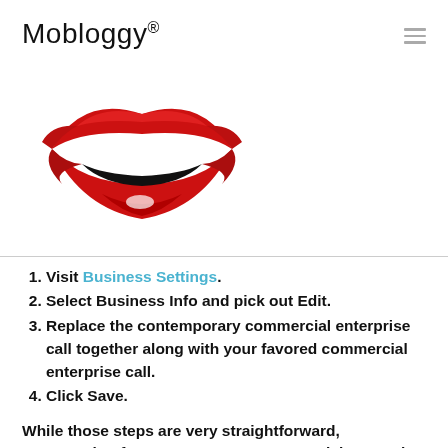Mobloggy®
[Figure (logo): Mobloggy logo: red stylized lips with black and white smile graphic]
Visit Business Settings.
Select Business Info and pick out Edit.
Replace the contemporary commercial enterprise call together along with your favored commercial enterprise call.
Click Save.
While those steps are very straightforward, constructing focus to your new commercial enterprise call takes time.
Ho...